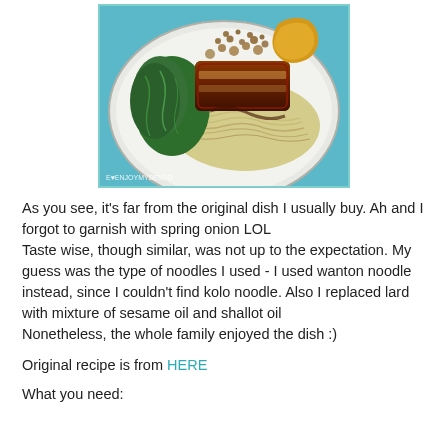[Figure (photo): A plate of noodles with braised pork belly, dark sauce, green vegetables (kai lan/choy), and fried wonton/dumpling on top, shot from above on a blue-rimmed plate.]
As you see, it's far from the original dish I usually buy. Ah and I forgot to garnish with spring onion LOL
Taste wise, though similar, was not up to the expectation. My guess was the type of noodles I used - I used wanton noodle instead, since I couldn't find kolo noodle. Also I replaced lard with mixture of sesame oil and shallot oil
Nonetheless, the whole family enjoyed the dish :)
Original recipe is from HERE
What you need: